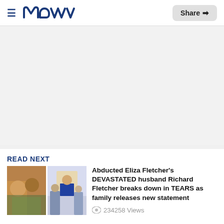≡ Meaww  Share ↗
[Figure (other): Advertisement placeholder area, light gray background]
READ NEXT
[Figure (photo): Two thumbnail photos side by side: left shows a couple selfie outdoors, right shows a man in a suit at a podium with others behind him]
Abducted Eliza Fletcher's DEVASTATED husband Richard Fletcher breaks down in TEARS as family releases new statement
234258 Views